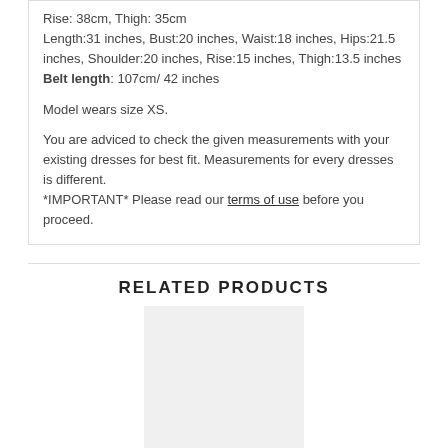Rise: 38cm, Thigh: 35cm
Length:31 inches, Bust:20 inches, Waist:18 inches, Hips:21.5 inches, Shoulder:20 inches, Rise:15 inches, Thigh:13.5 inches
Belt length: 107cm/ 42 inches

Model wears size XS.

You are adviced to check the given measurements with your existing dresses for best fit. Measurements for every dresses is different. *IMPORTANT* Please read our terms of use before you proceed.
RELATED PRODUCTS
[Figure (photo): Product image placeholder for Diverkin Romper (Black+Dark Green)]
DIVERKIN ROMPER (BLACK+DARK GREEN)
USD 60.50